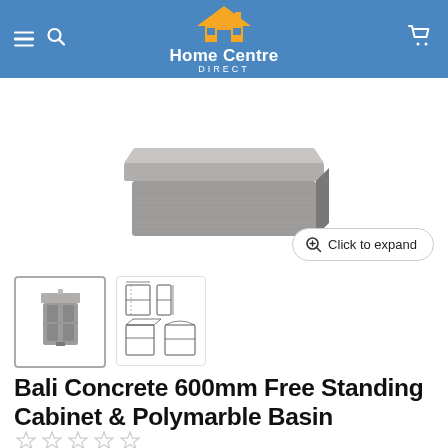Home Centre DIRECT
[Figure (photo): Product photo showing top portion of a concrete-finish bathroom vanity cabinet with polymarble basin, viewed at a slight angle from above]
[Figure (screenshot): Click to expand button with magnifier icon]
[Figure (photo): Thumbnail 1: Active selected thumbnail showing full front view of Bali Concrete 600mm vanity cabinet]
[Figure (illustration): Thumbnail 2: Line drawing technical diagrams showing multiple views of the vanity cabinet (front, side, perspective, exploded)]
Bali Concrete 600mm Free Standing Cabinet & Polymarble Basin
[Figure (other): Five empty star rating icons (0 out of 5 stars)]